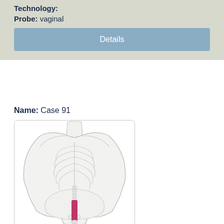Technology:
Probe: vaginal
Details
Name: Case 91
[Figure (illustration): Anatomical illustration of a female torso showing skeletal structure (ribcage, spine, pelvis) from the front view, with a pink/magenta highlighted probe element visible in the pelvic/vaginal region.]
Keywords: Uterine scar hematoma 4 months after delivery